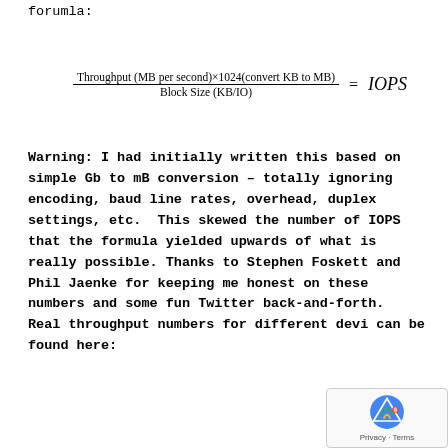forumla:
Warning: I had initially written this based on simple Gb to mB conversion – totally ignoring encoding, baud line rates, overhead, duplex settings, etc.  This skewed the number of IOPS that the formula yielded upwards of what is really possible. Thanks to Stephen Foskett and Phil Jaenke for keeping me honest on these numbers and some fun Twitter back-and-forth.  Real throughput numbers for different devi can be found here: